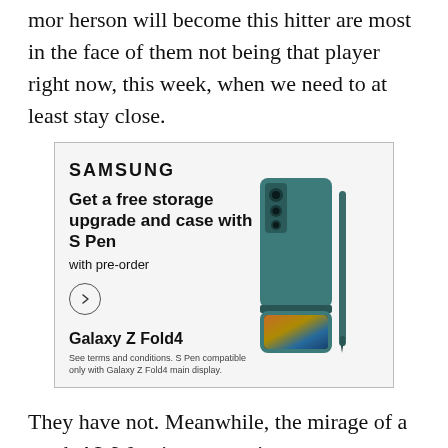mor herson will become this hitter are most in the face of them not being that player right now, this week, when we need to at least stay close.
[Figure (photo): Samsung advertisement for Galaxy Z Fold4. Shows Samsung logo, headline 'Get a free storage upgrade and case with S Pen with pre-order', arrow button, Galaxy Z Fold4 model name, disclaimer text, and product image of the folded phone with S Pen.]
They have not. Meanwhile, the mirage of a weak AL West is evaporating.
For the absurd, maddening and terrfyingly costly